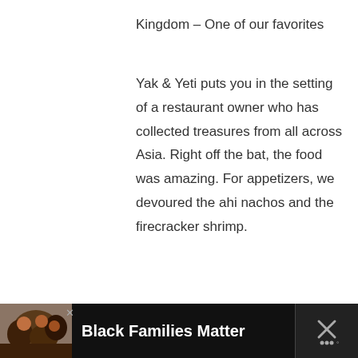Kingdom – One of our favorites
Yak & Yeti puts you in the setting of a restaurant owner who has collected treasures from all across Asia. Right off the bat, the food was amazing. For appetizers, we devoured the ahi nachos and the firecracker shrimp.
[Figure (photo): Gray placeholder image area for a photo]
[Figure (infographic): UI like button (teal heart icon) with count 485, and share button below]
[Figure (photo): Advertisement bar at bottom: photo of smiling family, bold text 'Black Families Matter', close X button, and icon on right]